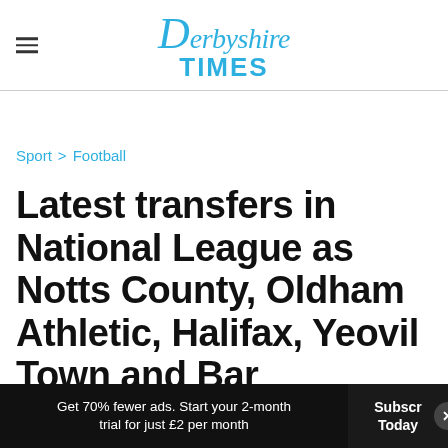Derbyshire Times
Sport > Football
Latest transfers in National League as Notts County, Oldham Athletic, Halifax, Yeovil Town and Barnet all make additions
Get 70% fewer ads. Start your 2-month trial for just £2 per month
Subscribe Today